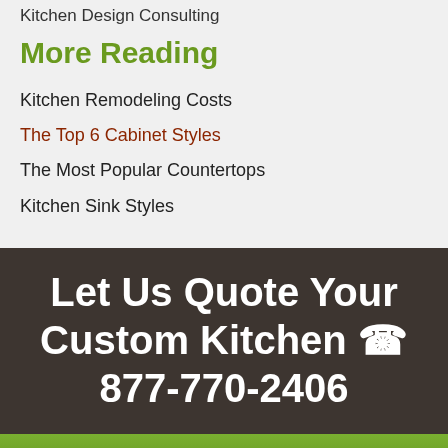Kitchen Design Consulting
More Reading
Kitchen Remodeling Costs
The Top 6 Cabinet Styles
The Most Popular Countertops
Kitchen Sink Styles
Let Us Quote Your Custom Kitchen ☎ 877-770-2406
Touch to Call!